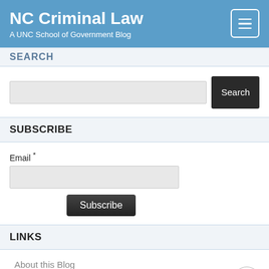NC Criminal Law
A UNC School of Government Blog
SEARCH
Search
SUBSCRIBE
Email *
Subscribe
LINKS
About this Blog
ARCHIVES